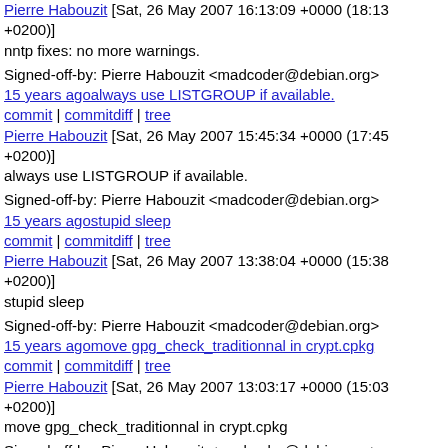Pierre Habouzit [Sat, 26 May 2007 16:13:09 +0000 (18:13 +0200)] nntp fixes: no more warnings.
Signed-off-by: Pierre Habouzit <madcoder@debian.org>
15 years agoalways use LISTGROUP if available.
commit | commitdiff | tree
Pierre Habouzit [Sat, 26 May 2007 15:45:34 +0000 (17:45 +0200)] always use LISTGROUP if available.
Signed-off-by: Pierre Habouzit <madcoder@debian.org>
15 years agostupid sleep
commit | commitdiff | tree
Pierre Habouzit [Sat, 26 May 2007 13:38:04 +0000 (15:38 +0200)] stupid sleep
Signed-off-by: Pierre Habouzit <madcoder@debian.org>
15 years agomove gpg_check_traditionnal in crypt.cpkg
commit | commitdiff | tree
Pierre Habouzit [Sat, 26 May 2007 13:03:17 +0000 (15:03 +0200)] move gpg_check_traditionnal in crypt.cpkg
Signed-off-by: Pierre Habouzit <madcoder@debian.org>
15 years agoput every nttp setting together
commit | commitdiff | tree
Pierre Habouzit [Sat, 26 May 2007 12:24:43 +0000 (14:24 +0200)]